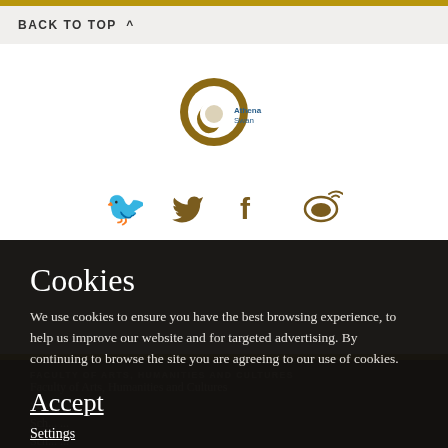BACK TO TOP ^
[Figure (logo): Athena Swan Charter bronze award logo - circular icon with Athena Swan text]
[Figure (infographic): Social media icons: Twitter bird, Facebook f, Weibo icons in brown/gold color]
FACULTY OF ARTS, HUMANITIES AND CULTURES
Cookies
Faculty of Arts, Humanities and Cultures
We use cookies to ensure you have the best browsing experience, to help us improve our website and for targeted advertising. By continuing to browse the site you are agreeing to our use of cookies.
Accept
Settings
Find out more
School of Languages, Cultures and Societies
School of Media and Communication
School of Music
School of Performance and Cultural Industries
School of Philosophy, Religion and History of Science